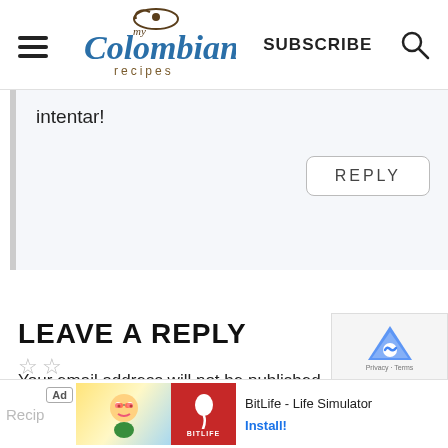my Colombian recipes | SUBSCRIBE
intentar!
REPLY
LEAVE A REPLY
Your email address will not be published. Required fields are marked *
[Figure (screenshot): reCAPTCHA widget with blue logo]
[Figure (screenshot): Ad banner: BitLife - Life Simulator, Install!]